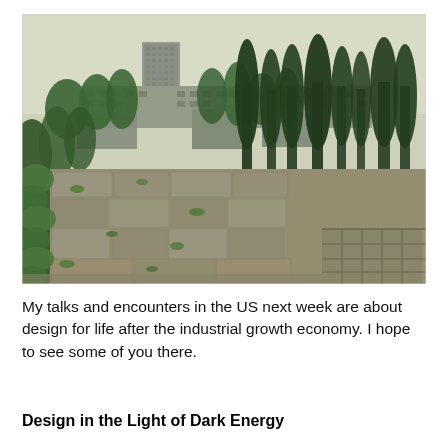[Figure (photo): Aerial view of an abandoned urban area, likely Pripyat near Chernobyl. Overgrown plaza with cracked pavement, vegetation pushing through concrete, tall dark cypress/poplar trees in the middle ground, and Soviet-era apartment blocks and buildings in the background under a pale sky.]
My talks and encounters in the US next week are about design for life after the industrial growth economy. I hope to see some of you there.
Design in the Light of Dark Energy